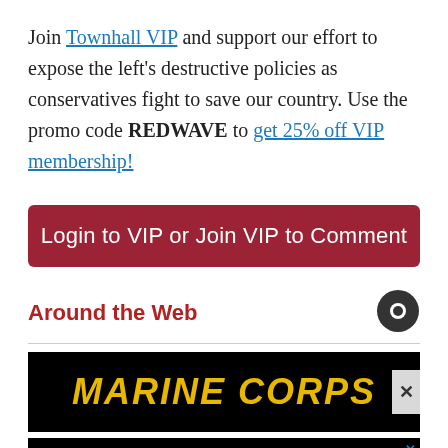Join Townhall VIP and support our effort to expose the left's destructive policies as conservatives fight to save our country. Use the promo code REDWAVE to get 25% off VIP membership!
Login to VIP or Join VIP to Comment
Around the Web
[Figure (screenshot): MARINE CORPS advertisement banner with yellow text on black background]
[Figure (photo): Advertisement: HELP US EXPOSE THE THREAT OF COMMUNIST CHINA with flag imagery and portrait]